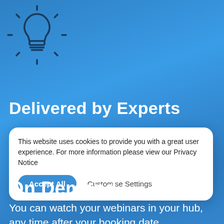[Figure (illustration): Light bulb icon with rays, dark outline on blue background]
Delivered by Experts
This website uses cookies to provide you with a great user experience. For more information please view our Privacy Notice
Accept All   Customise Settings
On Demand
You can watch your webinars in your hub, any time after your booking date.